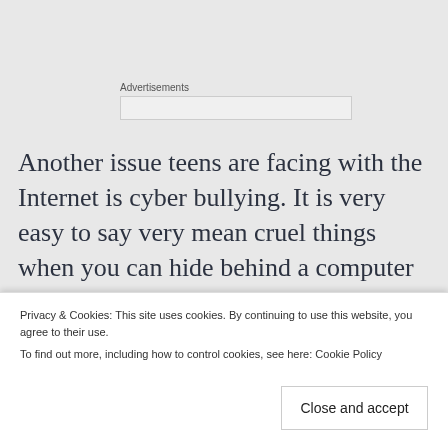Advertisements
Another issue teens are facing with the Internet is cyber bullying. It is very easy to say very mean cruel things when you can hide behind a computer and no one knows who you are. However, the target of the bullying can feel like their world is falling a part and feel their life is hopeless. They may see suicide as a way out. Suicide in teens is now the 3rd
Privacy & Cookies: This site uses cookies. By continuing to use this website, you agree to their use.
To find out more, including how to control cookies, see here: Cookie Policy
Close and accept
powerless and that no one cares about him.